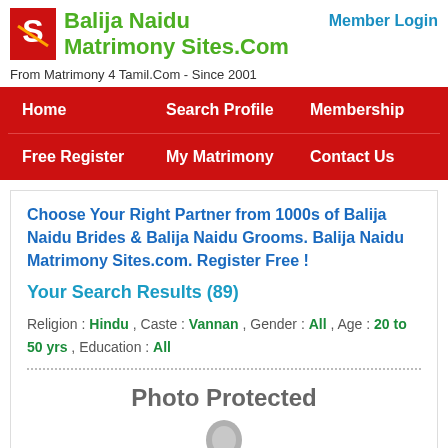Balija Naidu Matrimony Sites.Com
Member Login
From Matrimony 4 Tamil.Com - Since 2001
Home
Search Profile
Membership
Free Register
My Matrimony
Contact Us
Choose Your Right Partner from 1000s of Balija Naidu Brides & Balija Naidu Grooms. Balija Naidu Matrimony Sites.com. Register Free !
Your Search Results (89)
Religion : Hindu , Caste : Vannan , Gender : All , Age : 20 to 50 yrs , Education : All
[Figure (illustration): Photo Protected placeholder with avatar silhouette graphic]